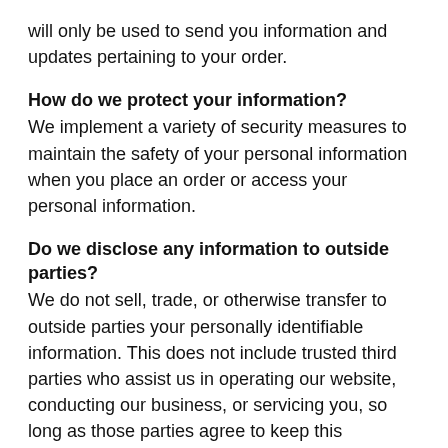will only be used to send you information and updates pertaining to your order.
How do we protect your information?
We implement a variety of security measures to maintain the safety of your personal information when you place an order or access your personal information.
Do we disclose any information to outside parties?
We do not sell, trade, or otherwise transfer to outside parties your personally identifiable information. This does not include trusted third parties who assist us in operating our website, conducting our business, or servicing you, so long as those parties agree to keep this information confidential. We may also release your information when we believe release is appropriate to comply